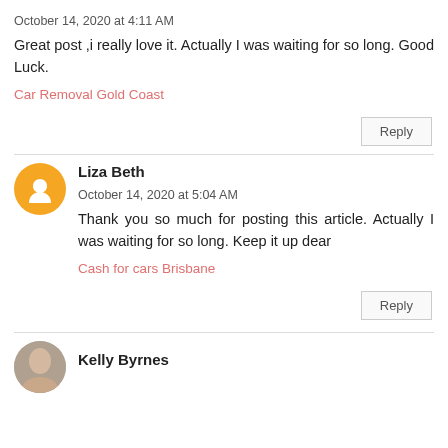October 14, 2020 at 4:11 AM
Great post ,i really love it. Actually I was waiting for so long. Good Luck.
Car Removal Gold Coast
Reply
Liza Beth
October 14, 2020 at 5:04 AM
Thank you so much for posting this article. Actually I was waiting for so long. Keep it up dear
Cash for cars Brisbane
Reply
Kelly Byrnes